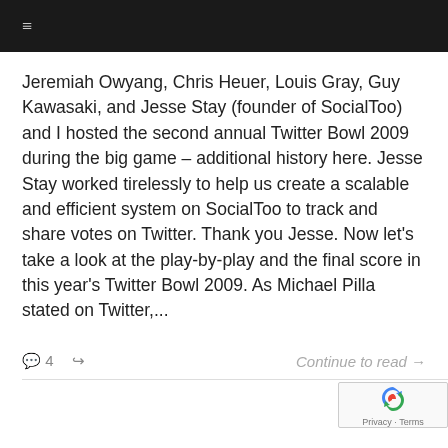≡
Jeremiah Owyang, Chris Heuer, Louis Gray, Guy Kawasaki, and Jesse Stay (founder of SocialToo) and I hosted the second annual Twitter Bowl 2009 during the big game – additional history here. Jesse Stay worked tirelessly to help us create a scalable and efficient system on SocialToo to track and share votes on Twitter. Thank you Jesse. Now let's take a look at the play-by-play and the final score in this year's Twitter Bowl 2009. As Michael Pilla stated on Twitter,...
💬 4   ↩   Continue to read →